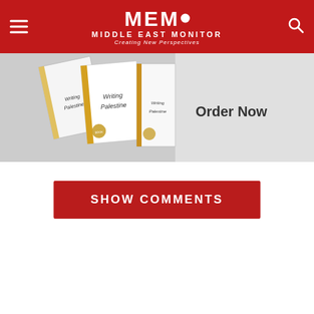MEMO MIDDLE EAST MONITOR — Creating New Perspectives
[Figure (illustration): Advertisement banner for 'Writing Palestine' book with books shown on left and 'Order Now' text on right]
SHOW COMMENTS